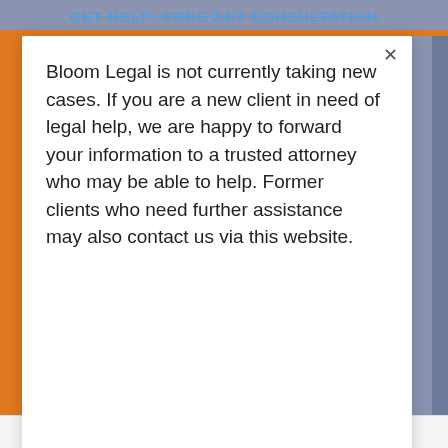GET HELP: FREE 24/7 CONSULTATION
Bloom Legal is not currently taking new cases. If you are a new client in need of legal help, we are happy to forward your information to a trusted attorney who may be able to help. Former clients who need further assistance may also contact us via this website.
Nov 29, 2018 - Criminal Defense by Seth Bloom